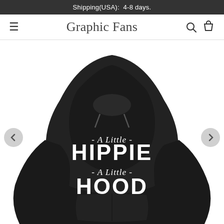Shipping(USA):  4-8 days.
Graphic Fans
[Figure (photo): Black hoodie sweatshirt with white text reading '- A Little - HIPPIE - A Little - HOOD' printed on the front chest area]